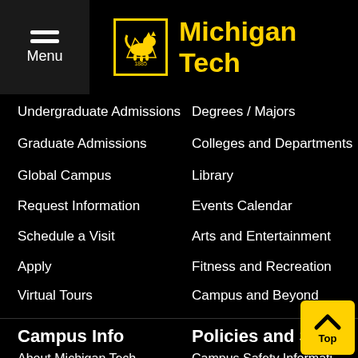Menu | Michigan Tech
Undergraduate Admissions
Degrees / Majors
Graduate Admissions
Colleges and Departments
Global Campus
Library
Request Information
Events Calendar
Schedule a Visit
Arts and Entertainment
Apply
Fitness and Recreation
Virtual Tours
Campus and Beyond
Campus Info
Policies and Safety
About Michigan Tech
Campus Safety Information
Accreditation
Emergency Contact Information